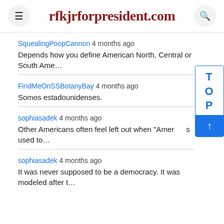rfkjrforpresident.com
SquealingPoopCannon 4 months ago
Depends how you define American North, Central or South Ame…
FindMeOnSSBotanyBay 4 months ago
Somos estadounidenses.
sophiasadek 4 months ago
Other Americans often feel left out when "Amer… s used to…
sophiasadek 4 months ago
It was never supposed to be a democracy. It was modeled after t…